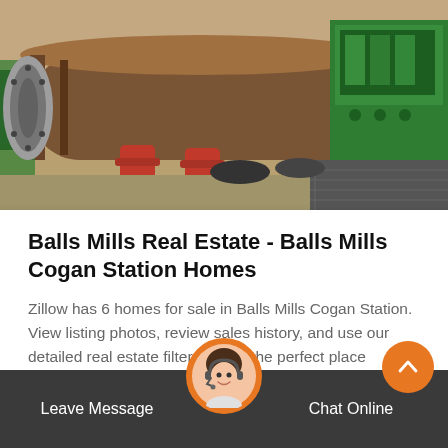[Figure (photo): Industrial machinery photo showing a large cylindrical metal roller/mill on a workshop floor with red supports and green mechanical equipment in the background.]
Balls Mills Real Estate - Balls Mills Cogan Station Homes
Zillow has 6 homes for sale in Balls Mills Cogan Station. View listing photos, review sales history, and use our detailed real estate filters to find the perfect place
Get Price
[Figure (photo): Customer service representative avatar - woman with headset smiling, in circular orange-bordered frame in the bottom bar.]
Leave Message
Chat Online